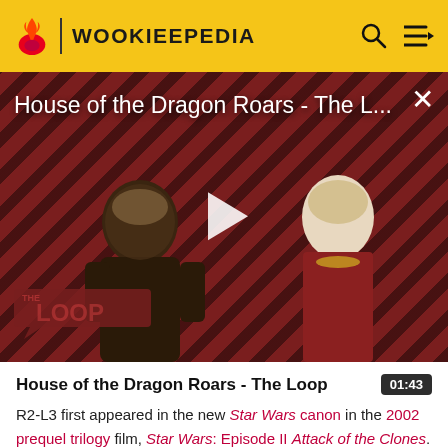WOOKIEEPEDIA
[Figure (screenshot): Video thumbnail showing two characters from House of the Dragon against a diagonal stripe background. Title reads 'House of the Dragon Roars - The L...' with a play button in the center and 'THE LOOP' badge in the lower left.]
House of the Dragon Roars - The Loop
R2-L3 first appeared in the new Star Wars canon in the 2002 prequel trilogy film, Star Wars: Episode II Attack of the Clones. The droid was then first identified when on a Funko Pop! figure of the droid that was exclusively